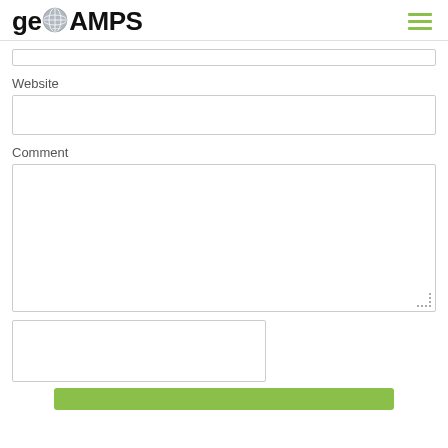geoAMPS
Website
Comment
[Figure (screenshot): reCAPTCHA or captcha verification box, empty white rectangle with border]
[Figure (screenshot): Green submit button at bottom of form]